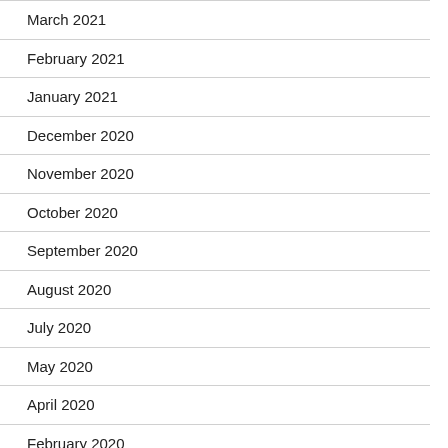March 2021
February 2021
January 2021
December 2020
November 2020
October 2020
September 2020
August 2020
July 2020
May 2020
April 2020
February 2020
January 2020